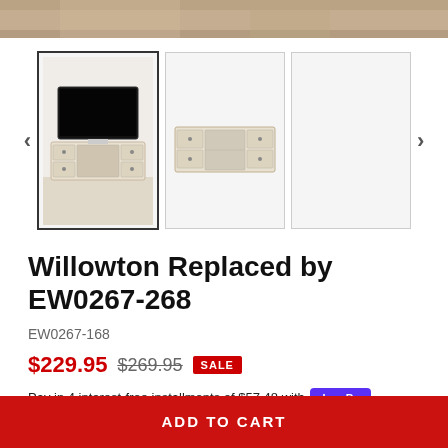[Figure (photo): Top portion of a room scene showing a TV stand/entertainment console in a living room setting]
[Figure (photo): Product image carousel with three thumbnail images of Willowton TV stand/entertainment console. First thumbnail (selected) shows front view with TV, second shows side/open view, third is blank/white. Left and right navigation arrows visible.]
Willowton Replaced by EW0267-268
EW0267-168
$229.95  $269.95  SALE
Pay in 4 interest-free installments of $57.48 with shop Pay
Learn more
ADD TO CART